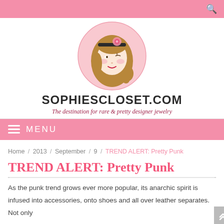SOPHIESCLOSET.COM — The destination for rare & pretty designer jewelry
[Figure (logo): Cartoon illustration of a girl with brown hair and a pink flower in her hair, inside a pink circle, logo for SophiesCloset.com]
SOPHIESCLOSET.COM
The destination for rare & pretty designer jewelry
MENU
Home / 2013 / September / 9 / TREND ALERT: Pretty Punk
TREND ALERT: Pretty Punk
As the punk trend grows ever more popular, its anarchic spirit is infused into accessories, onto shoes and all over leather separates. Not only